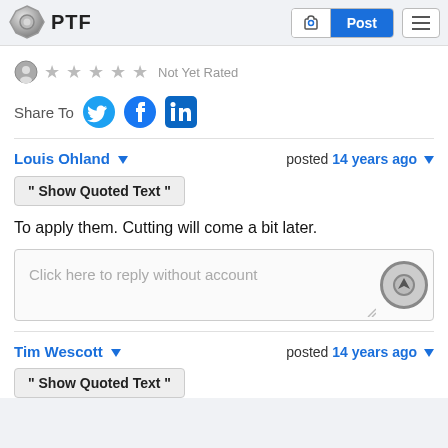PTF | Post
Not Yet Rated
Share To
Louis Ohland   posted 14 years ago
Show Quoted Text
To apply them. Cutting will come a bit later.
Click here to reply without account
Tim Wescott   posted 14 years ago
Show Quoted Text